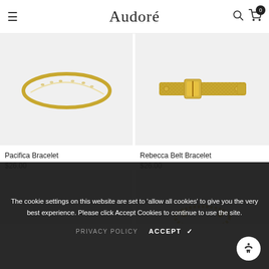Audoré
[Figure (photo): Gold thin hammered bangle bracelet on light grey background — Pacifica Bracelet]
[Figure (photo): Gold belt-style bracelet with buckle detail on light grey background — Rebecca Belt Bracelet]
Pacifica Bracelet
$26.00
Rebecca Belt Bracelet
$26.00
[Figure (photo): Partial product image, bottom left, partially obscured by cookie banner]
[Figure (photo): Partial product image, bottom right with gold jewelry visible, partially obscured by cookie banner]
The cookie settings on this website are set to 'allow all cookies' to give you the very best experience. Please click Accept Cookies to continue to use the site.
PRIVACY POLICY   ACCEPT ✓